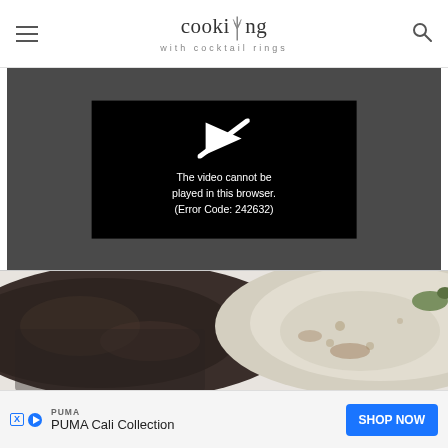cooking with cocktail rings
[Figure (screenshot): Video player error screen on dark gray background. Black center box shows a crossed-out play icon and text: 'The video cannot be played in this browser. (Error Code: 242632)']
[Figure (photo): Close-up photo of two eggplant halves cut side up on a white surface, showing the dark purple skin and white flesh interior.]
[Figure (other): Advertisement banner for PUMA Cali Collection with a blue 'SHOP NOW' button. Small AdChoices X and play icons on the left.]